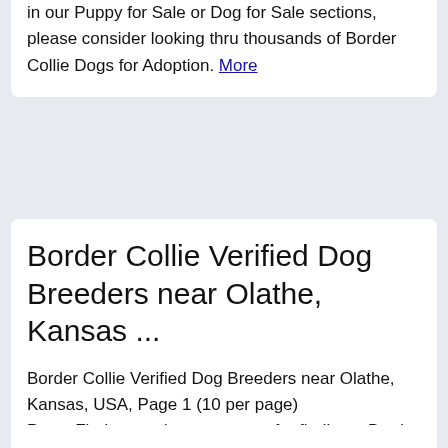in our Puppy for Sale or Dog for Sale sections, please consider looking thru thousands of Border Collie Dogs for Adoption. More
Border Collie Verified Dog Breeders near Olathe, Kansas ...
Border Collie Verified Dog Breeders near Olathe, Kansas, USA, Page 1 (10 per page) PuppyFinder.com is your source for finding a Border Collie Verified Dog Breeders in Olathe, Kansas, USA area. Browse thru our ID Verified Dog Breeders listings to find your perfect breeder in your area. More
Old English Sheepdog